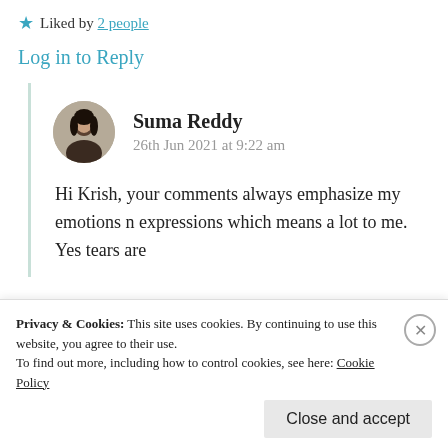★ Liked by 2 people
Log in to Reply
Suma Reddy
26th Jun 2021 at 9:22 am
Hi Krish, your comments always emphasize my emotions n expressions which means a lot to me. Yes tears are
Privacy & Cookies: This site uses cookies. By continuing to use this website, you agree to their use.
To find out more, including how to control cookies, see here: Cookie Policy
Close and accept